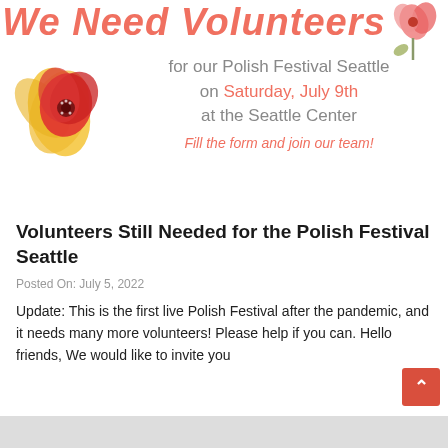We Need Volunteers
[Figure (illustration): Pink/red poppy flower illustration in top right corner]
for our Polish Festival Seattle on Saturday, July 9th at the Seattle Center
[Figure (illustration): Red and yellow poppy flower illustration on left side]
Fill the form and join our team!
Volunteers Still Needed for the Polish Festival Seattle
Posted On: July 5, 2022
Update: This is the first live Polish Festival after the pandemic, and it needs many more volunteers! Please help if you can. Hello friends, We would like to invite you